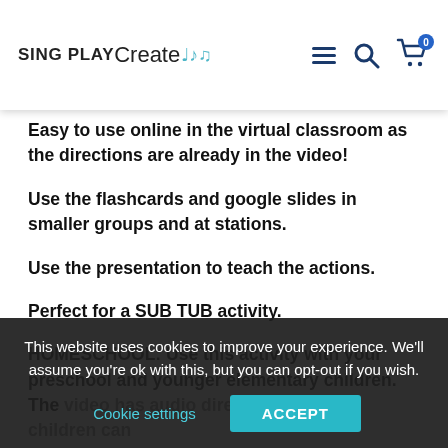SING PLAY Create
Easy to use online in the virtual classroom as the directions are already in the video!
Use the flashcards and google slides in smaller groups and at stations.
Use the presentation to teach the actions.
Perfect for a SUB TUB activity.
HOMESCHOOL: Use this activity with your preschool and younger elementary children. The video has audio directions so your children can
This website uses cookies to improve your experience. We'll assume you're ok with this, but you can opt-out if you wish. Cookie settings ACCEPT